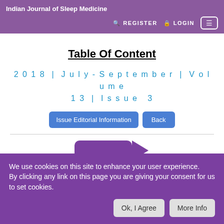Indian Journal of Sleep Medicine
Table Of Content
2018 | July-September | Volume 13 | Issue 3
Issue Editorial Information  Back
We use cookies on this site to enhance your user experience. By clicking any link on this page you are giving your consent for us to set cookies.